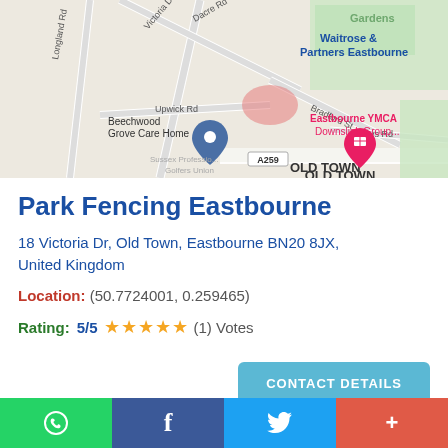[Figure (map): Google Maps screenshot showing Park Fencing Eastbourne location at 18 Victoria Dr, Old Town, Eastbourne. Shows nearby landmarks: Beechwood Grove Care Home, Eastbourne YMCA Downslink Group, Waitrose & Partners Eastbourne. Roads visible: Victoria Dr, Dacre Rd, Longland Rd, Upwick Rd, Bradford St, Greys Rd, A259. Area label: OLD TOWN.]
Park Fencing Eastbourne
18 Victoria Dr, Old Town, Eastbourne BN20 8JX, United Kingdom
Location: (50.7724001, 0.259465)
Rating: 5/5 ★★★★★ (1) Votes